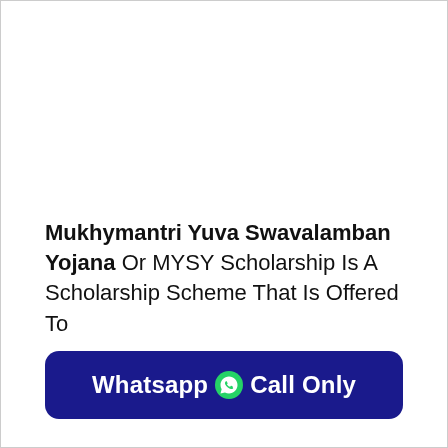Mukhymantri Yuva Swavalamban Yojana Or MYSY Scholarship Is A Scholarship Scheme That Is Offered To
Whatsapp Call Only